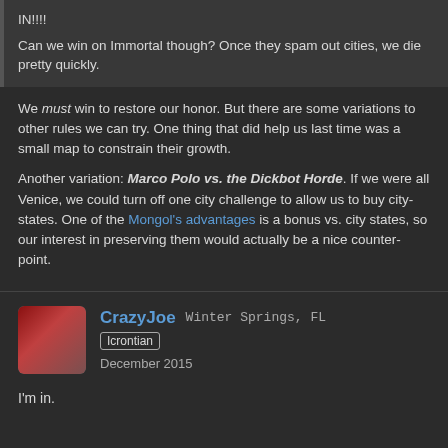IN!!!!
Can we win on Immortal though? Once they spam out cities, we die pretty quickly.
We must win to restore our honor. But there are some variations to other rules we can try. One thing that did help us last time was a small map to constrain their growth.
Another variation: Marco Polo vs. the Dickbot Horde. If we were all Venice, we could turn off one city challenge to allow us to buy city-states. One of the Mongol's advantages is a bonus vs. city states, so our interest in preserving them would actually be a nice counter-point.
CrazyJoe  Winter Springs, FL
Icrontian
December 2015
I'm in.